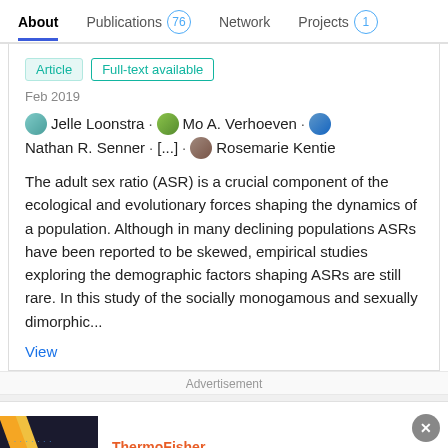About  Publications 76  Network  Projects 1
Article  Full-text available
Feb 2019
Jelle Loonstra · Mo A. Verhoeven · Nathan R. Senner · [...] · Rosemarie Kentie
The adult sex ratio (ASR) is a crucial component of the ecological and evolutionary forces shaping the dynamics of a population. Although in many declining populations ASRs have been reported to be skewed, empirical studies exploring the demographic factors shaping ASRs are still rare. In this study of the socially monogamous and sexually dimorphic...
View
Advertisement
[Figure (photo): ThermoFisher Scientific advertisement banner showing Cloning solutions made for advancement]
Cloning solutions made for advancement